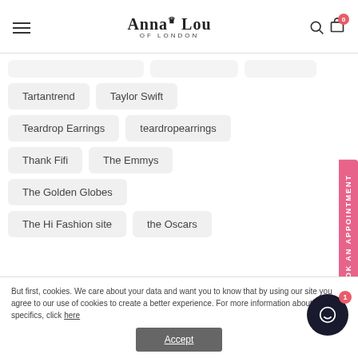Anna Lou OF LONDON
Tartantrend
Taylor Swift
Teardrop Earrings
teardropearrings
Thank Fifi
The Emmys
The Golden Globes
The Hi Fashion site
the Oscars
But first, cookies. We care about your data and want you to know that by using our site you agree to our use of cookies to create a better experience. For more information about the specifics, click here